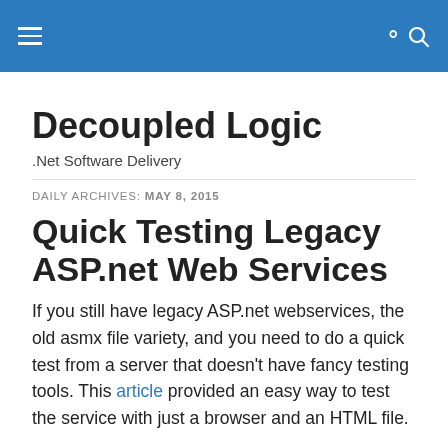Decoupled Logic — site header bar with hamburger menu and search icon
Decoupled Logic
.Net Software Delivery
DAILY ARCHIVES: MAY 8, 2015
Quick Testing Legacy ASP.net Web Services
If you still have legacy ASP.net webservices, the old asmx file variety, and you need to do a quick test from a server that doesn't have fancy testing tools. This article provided an easy way to test the service with just a browser and an HTML file.